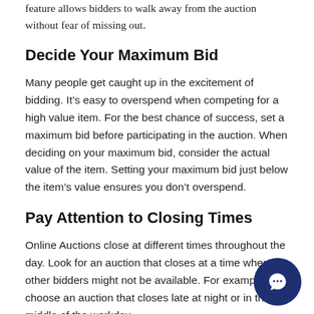feature allows bidders to walk away from the auction without fear of missing out.
Decide Your Maximum Bid
Many people get caught up in the excitement of bidding. It’s easy to overspend when competing for a high value item. For the best chance of success, set a maximum bid before participating in the auction. When deciding on your maximum bid, consider the actual value of the item. Setting your maximum bid just below the item’s value ensures you don’t overspend.
Pay Attention to Closing Times
Online Auctions close at different times throughout the day. Look for an auction that closes at a time when other bidders might not be available. For example, choose an auction that closes late at night or in the middle of the workday.
[Figure (illustration): Dark blue circular chat/support button icon in the bottom right corner]